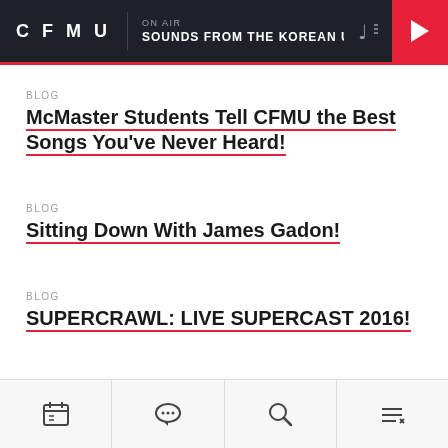CFMU | ON AIR SOUNDS FROM THE KOREAN UNDER
BLOG
McMaster Students Tell CFMU the Best Songs You've Never Heard!
BLOG
Sitting Down With James Gadon!
BLOG
SUPERCRAWL: LIVE SUPERCAST 2016!